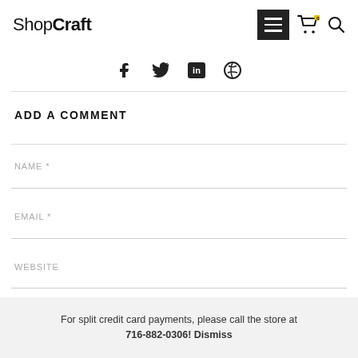ShopCraft
[Figure (other): Social media share icons: Facebook, Twitter, LinkedIn, Pinterest]
ADD A COMMENT
NAME *
EMAIL *
WEBSITE
For split credit card payments, please call the store at 716-882-0306! Dismiss